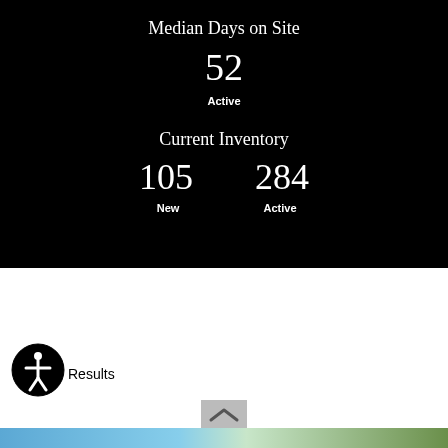Median Days on Site
52
Active
Current Inventory
105
284
New
Active
Results